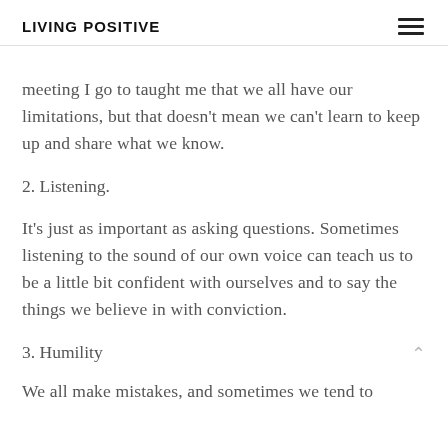LIVING POSITIVE
meeting I go to taught me that we all have our limitations, but that doesn't mean we can't learn to keep up and share what we know.
2. Listening.
It's just as important as asking questions. Sometimes listening to the sound of our own voice can teach us to be a little bit confident with ourselves and to say the things we believe in with conviction.
3. Humility
We all make mistakes, and sometimes we tend to